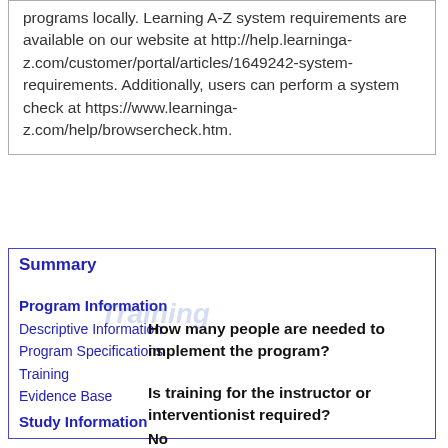programs locally. Learning A-Z system requirements are available on our website at http://help.learninga-z.com/customer/portal/articles/1649242-system-requirements. Additionally, users can perform a system check at https://www.learninga-z.com/help/browsercheck.htm.
Summary
Training
Program Information
Descriptive Information
Program Specifications
Training
Evidence Base
How many people are needed to implement the program?
Is training for the instructor or interventionist required?
No
Study Information